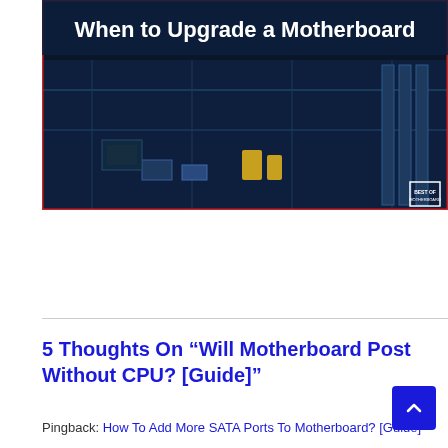[Figure (photo): Motherboard close-up photo with white bold text overlay reading 'When to Upgrade a Motherboard' and a small logo in the bottom-right corner reading 'BEST OF MOTHERBOARD']
5 Thoughts On “Will Motherboard Post Without CPU? [Guide]”
Pingback: How To Add More SATA Ports To Motherboard? [Guide]
Pingback: How To Use Motherboard HDMI With Graphics Card [Guide]